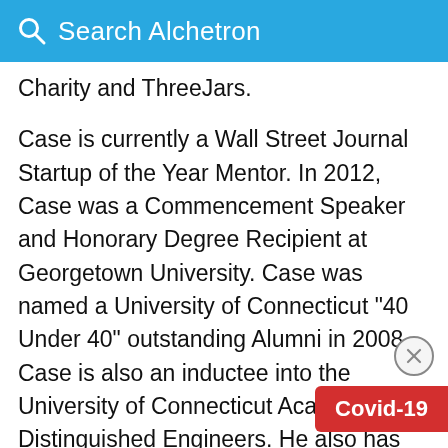Search Alchetron
Charity and ThreeJars.
Case is currently a Wall Street Journal Startup of the Year Mentor. In 2012, Case was a Commencement Speaker and Honorary Degree Recipient at Georgetown University. Case was named a University of Connecticut "40 Under 40" outstanding Alumni in 2008. Case is also an inductee into the University of Connecticut Academy of Distinguished Engineers. He also has been a Commencement speaker and was awarded an honorary doctorate from the University of Connecticut in 2015. His newest project is the company Main Street Genome which he founded in 2014.